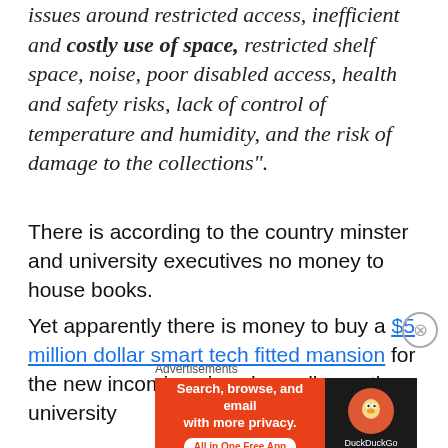issues around restricted access, inefficient and costly use of space, restricted shelf space, noise, poor disabled access, health and safety risks, lack of control of temperature and humidity, and the risk of damage to the collections".
There is according to the country minster and university executives no money to house books.
Yet apparently there is money to buy a $5 million dollar smart tech fitted mansion for the new incoming vice chancellor as the university
Advertisements
[Figure (infographic): DuckDuckGo advertisement banner: orange left section with text 'Search, browse, and email with more privacy. All in One Free App', dark right section with DuckDuckGo duck logo and brand name.]